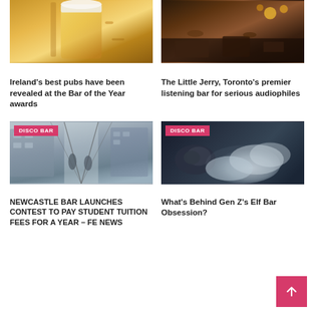[Figure (photo): A pint glass of beer on a bar counter]
[Figure (photo): People sitting at a listening bar in Toronto, dimly lit interior]
Ireland's best pubs have been revealed at the Bar of the Year awards
The Little Jerry, Toronto's premier listening bar for serious audiophiles
[Figure (photo): Two people walking on a pedestrian bridge in Newcastle, DISCO BAR badge]
[Figure (photo): Close-up of person exhaling smoke/vape, dark and moody, DISCO BAR badge]
NEWCASTLE BAR LAUNCHES CONTEST TO PAY STUDENT TUITION FEES FOR A YEAR – FE News
What's Behind Gen Z's Elf Bar Obsession?